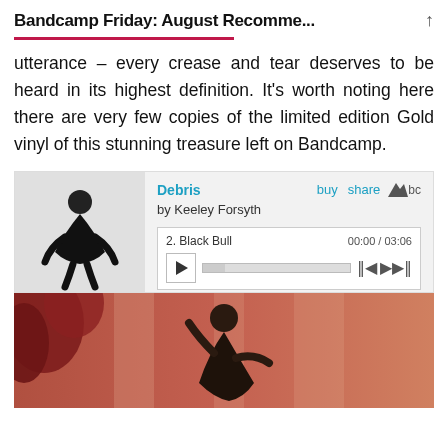Bandcamp Friday: August Recomme...
utterance – every crease and tear deserves to be heard in its highest definition. It's worth noting here there are very few copies of the limited edition Gold vinyl of this stunning treasure left on Bandcamp.
[Figure (screenshot): Bandcamp embedded music player widget showing album 'Debris' by Keeley Forsyth with track '2. Black Bull', duration 00:00 / 03:06, with play controls and album art of a person bending over.]
[Figure (photo): A performance photo showing a dancer with arms raised against a warm reddish-pink background with feathery plant elements.]